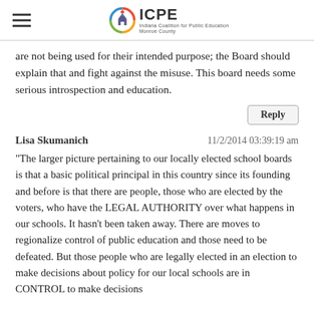ICPE — Indiana Coalition for Public Education Monroe County
are not being used for their intended purpose; the Board should explain that and fight against the misuse. This board needs some serious introspection and education.
Reply
Lisa Skumanich   11/2/2014 03:39:19 am
"The larger picture pertaining to our locally elected school boards is that a basic political principal in this country since its founding and before is that there are people, those who are elected by the voters, who have the LEGAL AUTHORITY over what happens in our schools. It hasn't been taken away. There are moves to regionalize control of public education and those need to be defeated. But those people who are legally elected in an election to make decisions about policy for our local schools are in CONTROL to make decisions